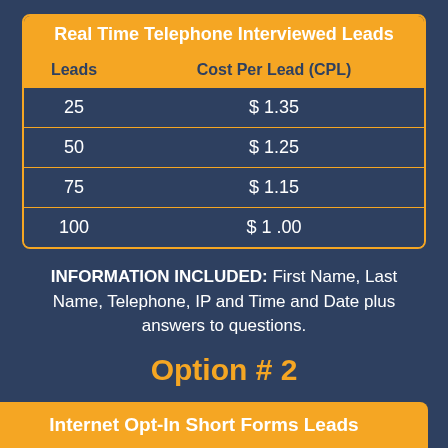| Leads | Cost Per Lead (CPL) |
| --- | --- |
| 25 | $ 1.35 |
| 50 | $ 1.25 |
| 75 | $ 1.15 |
| 100 | $ 1 .00 |
INFORMATION INCLUDED: First Name, Last Name, Telephone, IP and Time and Date plus answers to questions.
Option # 2
Internet Opt-In Short Forms Leads